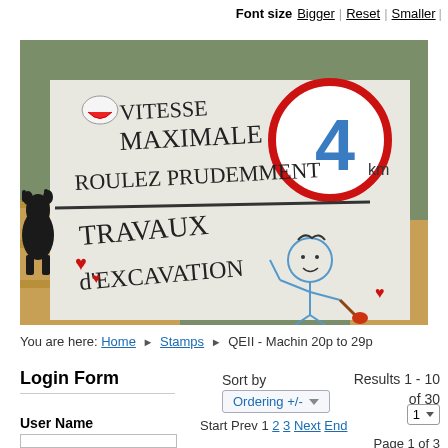Font size Bigger | Reset | Smaller |
[Figure (photo): A handwritten cardboard sign in French reading 'VITESSE MAXIMALE / ROULEZ PRUDEMMENT / TRAVAUX D'EXCAVATION' with a hand-drawn speed limit sign showing 4km/h, red hearts, and a stick figure with a shovel. A black cat is visible on the left.]
You are here: Home ▶ Stamps ▶ QEII - Machin 20p to 29p
Login Form
Sort by
Ordering +/-
Results 1 - 10 of 30
Start Prev 1 2 3 Next End
1
User Name
Page 1 of 3